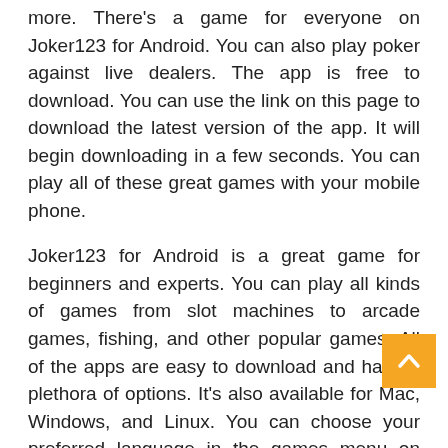more. There's a game for everyone on Joker123 for Android. You can also play poker against live dealers. The app is free to download. You can use the link on this page to download the latest version of the app. It will begin downloading in a few seconds. You can play all of these great games with your mobile phone.
Joker123 for Android is a great game for beginners and experts. You can play all kinds of games from slot machines to arcade games, fishing, and other popular games. All of the apps are easy to download and have a plethora of options. It's also available for Mac, Windows, and Linux. You can choose your preferred language in the games menu on Joker123. It's best to choose one for your device.
As a third-party application, Joker123 for Android is ideal for professional gamblers. It provides a